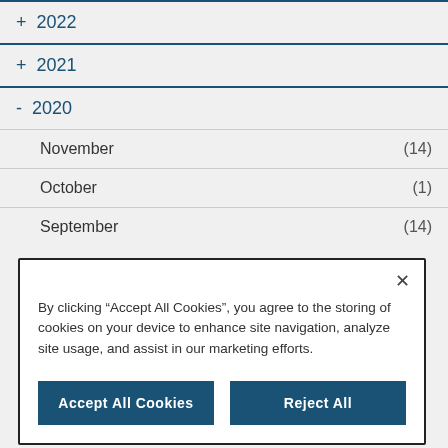+ 2022
+ 2021
- 2020
November (14)
October (1)
September (14)
By clicking "Accept All Cookies", you agree to the storing of cookies on your device to enhance site navigation, analyze site usage, and assist in our marketing efforts.
Accept All Cookies
Reject All